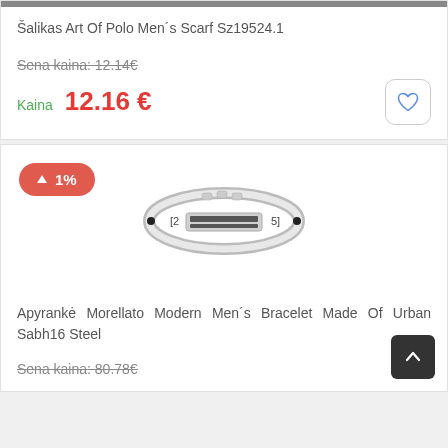[Figure (photo): Top partial image strip showing a product]
Šalikas Art Of Polo Men´s Scarf Sz19524.1
Sena kaina: 12.14€
Kaina 12.16 €
[Figure (photo): Silver metal bracelet - Morellato Modern Men's Bracelet Made Of Urban Sabh16 Steel]
Apyrankė Morellato Modern Men´s Bracelet Made Of Urban Sabh16 Steel
Sena kaina: 80.78€